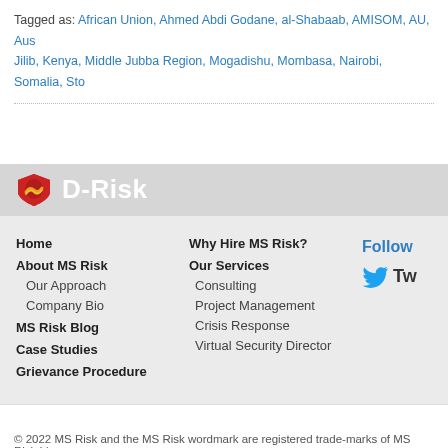Tagged as: African Union, Ahmed Abdi Godane, al-Shabaab, AMISOM, AU, Aus... Jilib, Kenya, Middle Jubba Region, Mogadishu, Mombasa, Nairobi, Somalia, Sto...
[Figure (logo): D-Risk logo with shield icon on grey bar]
Home
About MS Risk
Our Approach
Company Bio
MS Risk Blog
Case Studies
Grievance Procedure
Why Hire MS Risk?
Our Services
Consulting
Project Management
Crisis Response
Virtual Security Director
Follow
© 2022 MS Risk and the MS Risk wordmark are registered trade-marks of MS Risk Lim...